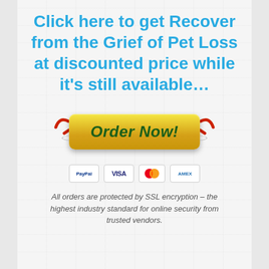Click here to get Recover from the Grief of Pet Loss at discounted price while it's still available…
[Figure (illustration): Yellow 'Order Now!' button with red arrows pointing left and right toward it, an oval shadow beneath the button, and payment icons (PayPal, VISA, Mastercard, Amex) below]
All orders are protected by SSL encryption – the highest industry standard for online security from trusted vendors.